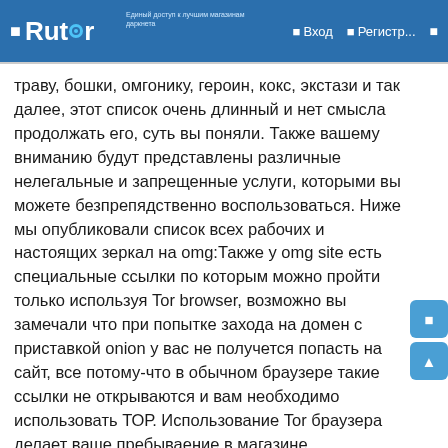Rutor — Вход — Регистр...
траву, бошки, омгонику, героин, кокс, экстази и так далее, этот список очень длинный и нет смысла продолжать его, суть вы поняли. Также вашему вниманию будут представлены различные нелегальные и запрещенные услуги, которыми вы можете безпрепядственно воспользоваться. Ниже мы опубликовали список всех рабочих и настоящих зеркал на omg:Также у omg site есть специальные ссылки по которым можно пройти только используя Tor browser, возможно вы замечали что при попытке захода на домен с приставкой onion у вас не получется попасть на сайт, все потому-что в обычном браузере такие ссылки не открываются и вам необходимо использовать ТОР. Использование Tor браузера делает ваше пребываение в магазине зепрещенных товаров очень безопасным, поэтому если вы дорожите своей анонимностью и хотите оставаться полностью неизвестным при приобретении чего-либо в omg shop, наши рекомендации это использование данного браузера в своих целях, также ссылки для него:Как сделать первую покупку на